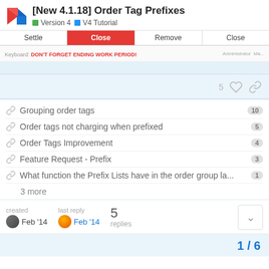[New 4.1.18] Order Tag Prefixes — Version 4 | V4 Tutorial
[Figure (screenshot): Screenshot of a POS interface showing buttons: Settle, Close (active/red), Remove, Close, with a keyboard bar showing 'DON'T FORGET ENDING WORK PERIOD!' in red and Administrator label on the right.]
Grouping order tags 10
Order tags not charging when prefixed 5
Order Tags Improvement 4
Feature Request - Prefix 3
What function the Prefix Lists have in the order group la... 1
3 more
created Feb '14  last reply Feb '14  5 replies
1 / 6